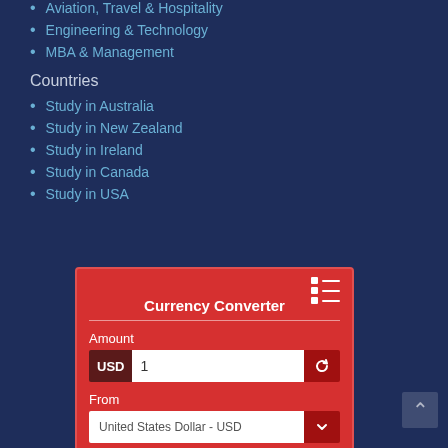Aviation, Travel & Hospitality
Engineering & Technology
MBA & Management
Countries
Study in Australia
Study in New Zealand
Study in Ireland
Study in Canada
Study in USA
[Figure (screenshot): Currency Converter widget with Amount field showing USD 1, and From dropdown showing United States Dollar - USD]